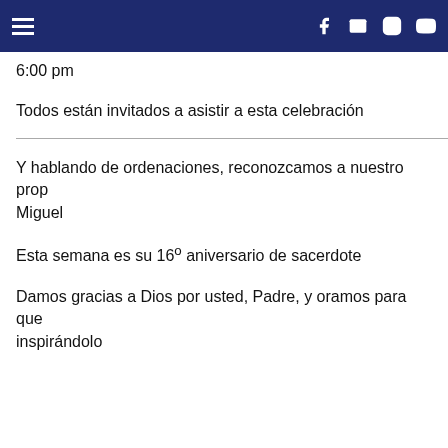Navigation header with hamburger menu and social icons (Facebook, Email, Instagram, YouTube)
6:00 pm
Todos están invitados a asistir a esta celebración
Y hablando de ordenaciones, reconozcamos a nuestro prop Miguel
Esta semana es su 16º aniversario de sacerdote
Damos gracias a Dios por usted, Padre, y oramos para que inspirándolo